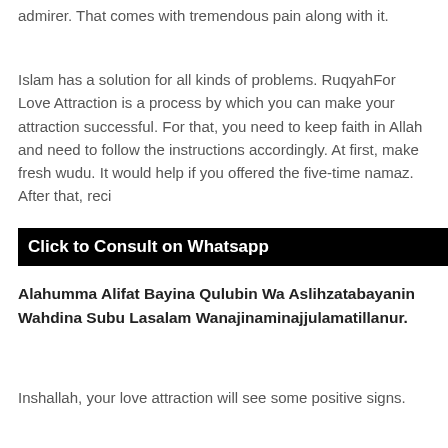admirer. That comes with tremendous pain along with it.
Islam has a solution for all kinds of problems. RuqyahFor Love Attraction is a process by which you can make your attraction successful. For that, you need to keep faith in Allah and need to follow the instructions accordingly. At first, make fresh wudu. It would help if you offered the five-time namaz. After that, reci
Click to Consult on Whatsapp
Alahumma Alifat Bayina Qulubin Wa Aslihzatabayanin Wahdina Subu Lasalam Wanajinaminajjulamatillanur.
Inshallah, your love attraction will see some positive signs.